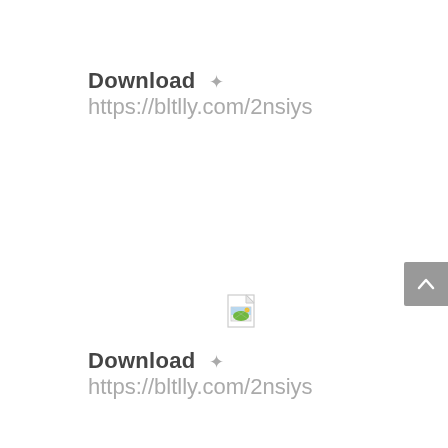Download ✦ https://bltlly.com/2nsiys
[Figure (other): Broken image placeholder icon — small document/image icon with a torn corner]
Download ✦ https://bltlly.com/2nsiys